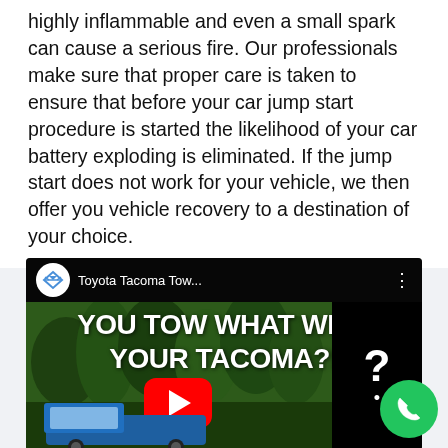highly inflammable and even a small spark can cause a serious fire. Our professionals make sure that proper care is taken to ensure that before your car jump start procedure is started the likelihood of your car battery exploding is eliminated. If the jump start does not work for your vehicle, we then offer you vehicle recovery to a destination of your choice.
[Figure (screenshot): YouTube video thumbnail showing 'Toyota Tacoma Tow...' with large text 'YOU TOW WHAT WITH YOUR TACOMA?!' overlaid on an image of trees and a blue Toyota Tacoma truck. A red YouTube play button is visible in the center and a black panel with a question mark on the right.]